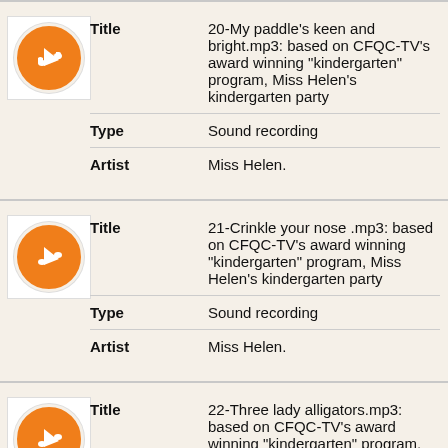|  | Field | Value |
| --- | --- | --- |
| [music icon] | Title | 20-My paddle's keen and bright.mp3: based on CFQC-TV's award winning "kindergarten" program, Miss Helen's kindergarten party |
|  | Type | Sound recording |
|  | Artist | Miss Helen. |
|  | Field | Value |
| --- | --- | --- |
| [music icon] | Title | 21-Crinkle your nose .mp3: based on CFQC-TV's award winning "kindergarten" program, Miss Helen's kindergarten party |
|  | Type | Sound recording |
|  | Artist | Miss Helen. |
|  | Field | Value |
| --- | --- | --- |
| [music icon] | Title | 22-Three lady alligators.mp3: based on CFQC-TV's award winning "kindergarten" program, Miss Helen's kindergarten party (truncated) |